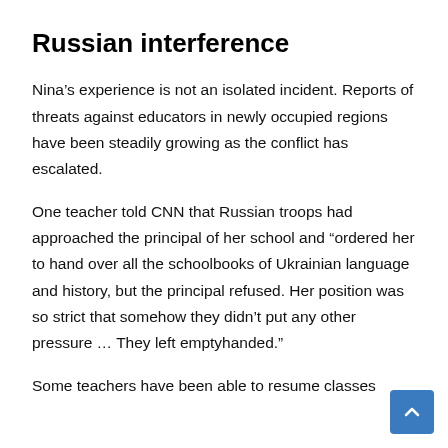Russian interference
Nina’s experience is not an isolated incident. Reports of threats against educators in newly occupied regions have been steadily growing as the conflict has escalated.
One teacher told CNN that Russian troops had approached the principal of her school and “ordered her to hand over all the schoolbooks of Ukrainian language and history, but the principal refused. Her position was so strict that somehow they didn’t put any other pressure … They left emptyhanded.”
Some teachers have been able to resume classes